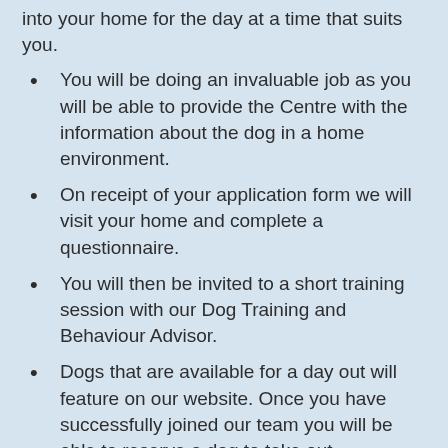into your home for the day at a time that suits you.
You will be doing an invaluable job as you will be able to provide the Centre with the information about the dog in a home environment.
On receipt of your application form we will visit your home and complete a questionnaire.
You will then be invited to a short training session with our Dog Training and Behaviour Advisor.
Dogs that are available for a day out will feature on our website. Once you have successfully joined our team you will be able to reserve a dog to take out.
It is important that the dogs keep to a routine. Dogs can be collected after 9.00am and must be returned by 4.00pm in time for their tea.
This scheme is best suited to people without other dogs. This allows the scheme member to spend quality one to one time with each dog.